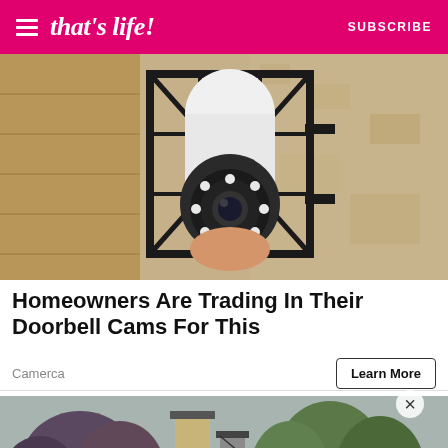that's life! SUBSCRIBE
[Figure (photo): Close-up photo of a security camera with LED lights being installed on a exterior brick wall fixture]
Homeowners Are Trading In Their Doorbell Cams For This
Camerca
Learn More
[Figure (photo): Photo of residential rooftops with trees in the background on an overcast day]
×